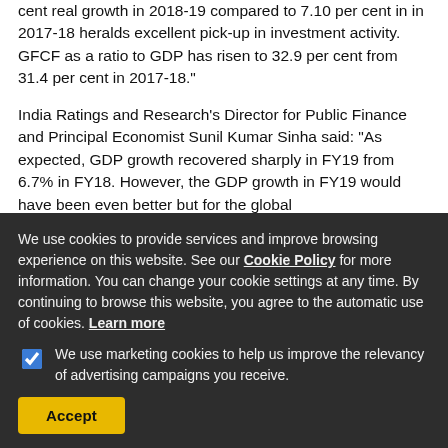cent real growth in 2018-19 compared to 7.10 per cent in in 2017-18 heralds excellent pick-up in investment activity. GFCF as a ratio to GDP has risen to 32.9 per cent from 31.4 per cent in 2017-18."
India Ratings and Research's Director for Public Finance and Principal Economist Sunil Kumar Sinha said: "As expected, GDP growth recovered sharply in FY19 from 6.7% in FY18. However, the GDP growth in FY19 would have been even better but for the global
We use cookies to provide services and improve browsing experience on this website. See our Cookie Policy for more information. You can change your cookie settings at any time. By continuing to browse this website, you agree to the automatic use of cookies. Learn more
We use marketing cookies to help us improve the relevancy of advertising campaigns you receive.